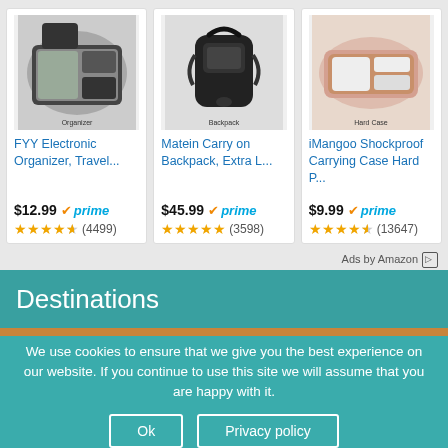[Figure (screenshot): Product card: FYY Electronic Organizer travel case with cables and accessories. Price $12.99, Prime, 4.5 stars (4499 reviews).]
[Figure (screenshot): Product card: Matein Carry on Backpack, Extra Large, black. Price $45.99, Prime, 5 stars (3598 reviews).]
[Figure (screenshot): Product card: iMangoo Shockproof Carrying Case Hard P... rose gold. Price $9.99, Prime, 4.5 stars (13647 reviews).]
Ads by Amazon
Destinations
We use cookies to ensure that we give you the best experience on our website. If you continue to use this site we will assume that you are happy with it.
Ok   Privacy policy